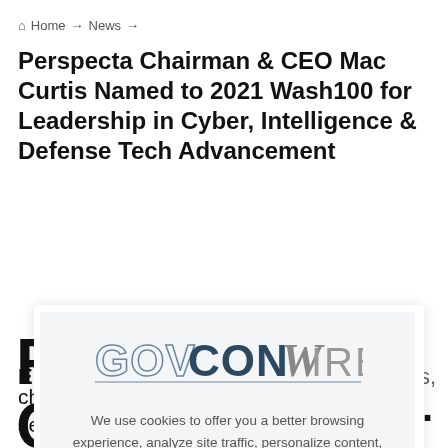Home → News →
Perspecta Chairman & CEO Mac Curtis Named to 2021 Wash100 for Leadership in Cyber, Intelligence & Defense Tech Advancement
[Figure (logo): GovConWire logo — 'GOVCON' in slate-blue outlined letters, 'WIRE' in gray, with a stylized W, underlined]
We use cookies to offer you a better browsing experience, analyze site traffic, personalize content, and serve targeted advertisements. Read about how we use cookies and how you can control them on our Privacy Policy. If you continue to use this site, you consent to our use of cookies.
chairman and CEO of Perspecta, as a seven-time Wash100